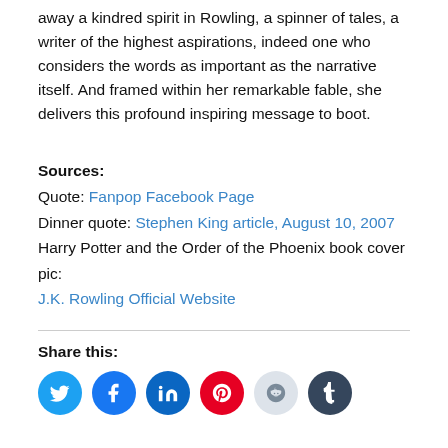away a kindred spirit in Rowling, a spinner of tales, a writer of the highest aspirations, indeed one who considers the words as important as the narrative itself. And framed within her remarkable fable, she delivers this profound inspiring message to boot.
Sources:
Quote: Fanpop Facebook Page
Dinner quote: Stephen King article, August 10, 2007
Harry Potter and the Order of the Phoenix book cover pic: J.K. Rowling Official Website
Share this:
[Figure (infographic): Row of six social media share buttons as colored circles: Twitter (blue), Facebook (blue), LinkedIn (dark blue), Pinterest (red), Reddit (light gray), Tumblr (dark navy)]